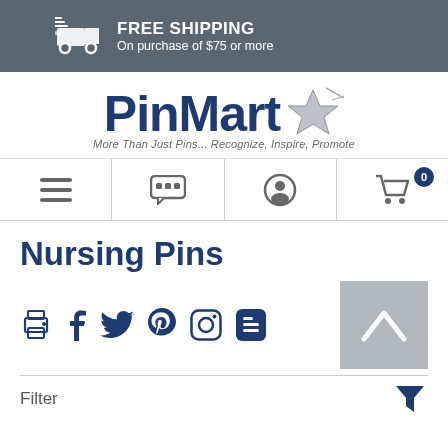FREE SHIPPING On purchase of $75 or more
[Figure (logo): PinMart logo with star graphic and tagline: More Than Just Pins... Recognize, Inspire, Promote]
[Figure (infographic): Navigation bar with hamburger menu, chat icon, user account icon, and shopping cart with 0 items badge]
Nursing Pins
[Figure (infographic): Social sharing icons: print, Facebook, Twitter, Pinterest, Instagram, Blogger; and a scroll-up arrow button]
Filter